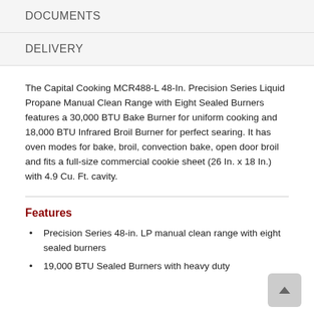DOCUMENTS
DELIVERY
The Capital Cooking MCR488-L 48-In. Precision Series Liquid Propane Manual Clean Range with Eight Sealed Burners features a 30,000 BTU Bake Burner for uniform cooking and 18,000 BTU Infrared Broil Burner for perfect searing. It has oven modes for bake, broil, convection bake, open door broil and fits a full-size commercial cookie sheet (26 In. x 18 In.) with 4.9 Cu. Ft. cavity.
Features
Precision Series 48-in. LP manual clean range with eight sealed burners
19,000 BTU Sealed Burners with heavy duty